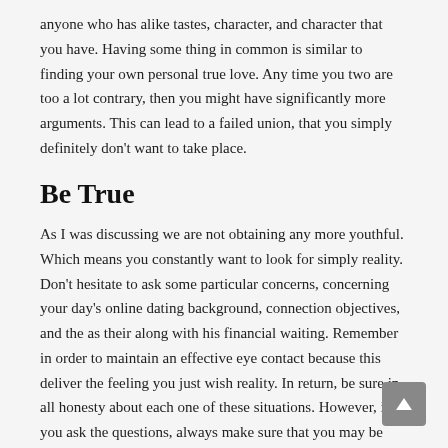anyone who has alike tastes, character, and character that you have. Having some thing in common is similar to finding your own personal true love. Any time you two are too a lot contrary, then you might have significantly more arguments. This can lead to a failed union, that you simply definitely don't want to take place.
Be True
As I was discussing we are not obtaining any more youthful. Which means you constantly want to look for simply reality. Don't hesitate to ask some particular concerns, concerning your day's online dating background, connection objectives, and the as their along with his financial waiting. Remember in order to maintain an effective eye contact because this deliver the feeling you just wish reality. In return, be sure in all honesty about each one of these situations. However, if you ask the questions, always make sure that you may be additionally willing to honestly respond to them.
Determination Is Key